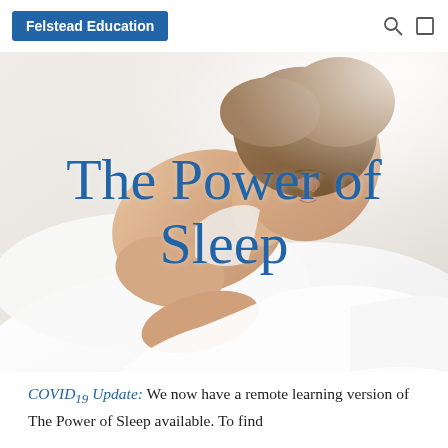Felstead Education
[Figure (photo): A woman sleeping peacefully on white pillows and bedding, photographed from the side, with soft bright background lighting.]
The Power of Sleep
COVID19 Update: We now have a remote learning version of The Power of Sleep available. To find